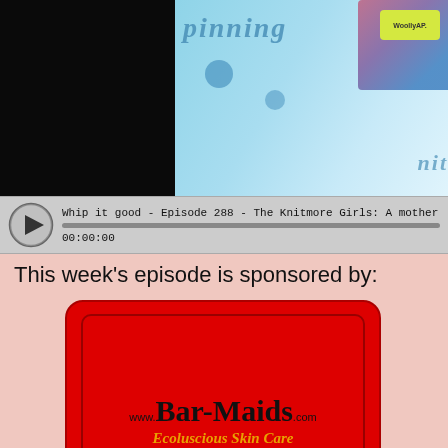[Figure (screenshot): Screenshot of a podcast webpage showing a video/audio player with a knitting-related photo (dark video frame on left, colorful yarn/fabric photo on right with 'spinning' and 'knit' text visible). Below is an audio player bar showing 'Whip it good - Episode 288 - The Knitmore Girls: A mother-daughter knitting pro...' and timestamp 00:00:00.]
This week's episode is sponsored by:
[Figure (logo): Bar-Maids advertisement. Red rounded rectangle with www.Bar-Maids.com in large black serif font and 'Ecoluscious Skin Care' in italic gold text. Below is a white box containing the Lo-Lo product logo: a circular yellow logo with a stylized retro woman's face and 'Lo-Lo' text with trademark symbol.]